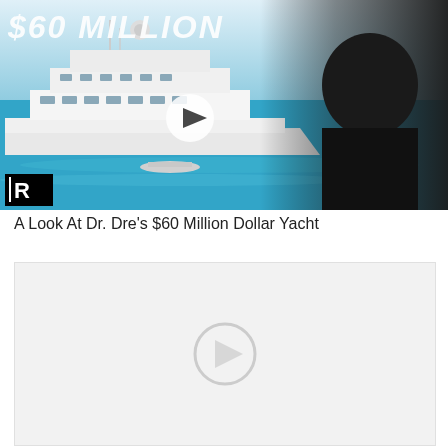[Figure (screenshot): Video thumbnail showing a large white luxury yacht on blue water with the text '$60 MILLION' at the top, a man in a black shirt on the right, a play button in the center, and a logo box at the bottom left.]
A Look At Dr. Dre's $60 Million Dollar Yacht
[Figure (screenshot): A second video thumbnail placeholder, light gray background with a faint play button icon in the center.]